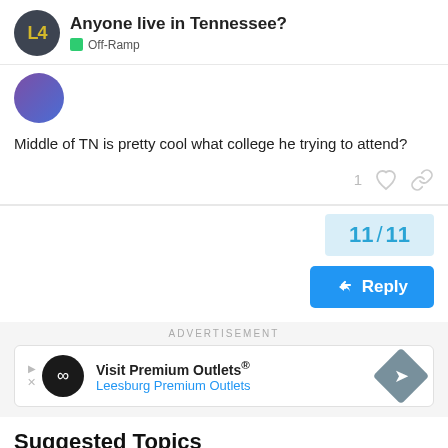Anyone live in Tennessee? | Off-Ramp
Middle of TN is pretty cool what college he trying to attend?
1
11 / 11
Reply
ADVERTISEMENT
[Figure (other): Advertisement banner for Visit Premium Outlets - Leesburg Premium Outlets]
Suggested Topics
Baffled by a...